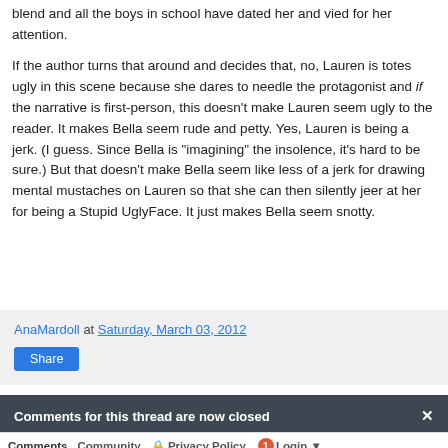blend and all the boys in school have dated her and vied for her attention.
If the author turns that around and decides that, no, Lauren is totes ugly in this scene because she dares to needle the protagonist and if the narrative is first-person, this doesn't make Lauren seem ugly to the reader. It makes Bella seem rude and petty. Yes, Lauren is being a jerk. (I guess. Since Bella is "imagining" the insolence, it's hard to be sure.) But that doesn't make Bella seem like less of a jerk for drawing mental mustaches on Lauren so that she can then silently jeer at her for being a Stupid UglyFace. It just makes Bella seem snotty.
AnaMardoll at Saturday, March 03, 2012
Share
Comments for this thread are now closed
Comments   Community   Privacy Policy   Login